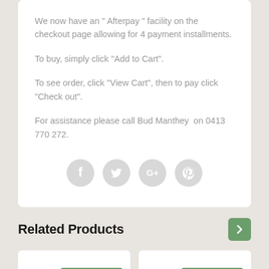We now have an " Afterpay " facility on the checkout page allowing for 4 payment installments.
To buy, simply click "Add to Cart".
To see order, click "View Cart", then to pay click "Check out".
For assistance please call Bud Manthey  on 0413 770 272.
[Figure (infographic): Four circular social media icons: Facebook, Twitter, Google+, Pinterest — all in light grey]
Related Products
[Figure (infographic): Two product cards side by side, each with a green SALE PRICE badge]
SALE PRICE
SALE PRICE